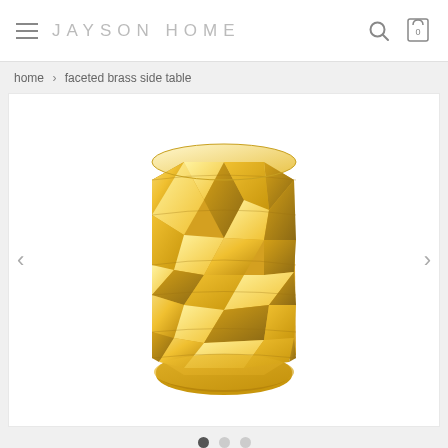JAYSON HOME
home > faceted brass side table
[Figure (photo): A shiny gold faceted brass side table with geometric diamond-pattern facets on a cylindrical body, photographed on white background. The table has a polished metallic brass finish with triangular and diamond-shaped faceted surfaces.]
Carousel navigation dots: active dot 1 of 3